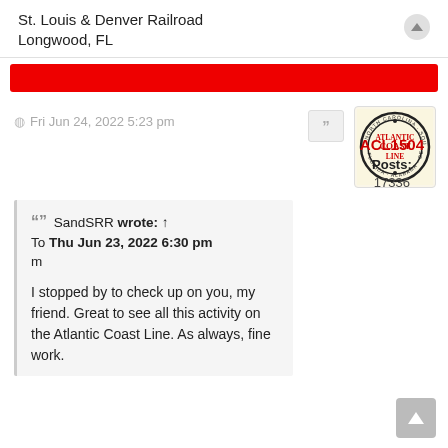St. Louis & Denver Railroad
Longwood, FL
Fri Jun 24, 2022 5:23 pm
[Figure (logo): Atlantic Coast Line railroad circular logo with text: NORTH CAROLINA, SOUTH CAROLINA, VIRGINIA, GEORGIA, FLORIDA, ALABAMA around the border and ATLANTIC COAST LINE in the center]
ACL1504
Posts:
17336
"" SandSRR wrote: ↑
To Thu Jun 23, 2022 6:30 pm
m

I stopped by to check up on you, my friend. Great to see all this activity on the Atlantic Coast Line. As always, fine work.